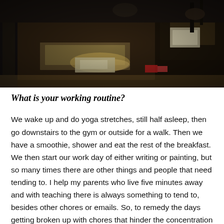[Figure (photo): Overhead view of a studio or workshop space with dark wooden tables, papers, art supplies, and natural light casting reflections on surfaces.]
What is your working routine?
We wake up and do yoga stretches, still half asleep, then go downstairs to the gym or outside for a walk. Then we have a smoothie, shower and eat the rest of the breakfast. We then start our work day of either writing or painting, but so many times there are other things and people that need tending to. I help my parents who live five minutes away and with teaching there is always something to tend to, besides other chores or emails. So, to remedy the days getting broken up with chores that hinder the concentration and ability to go into “fairy land” we